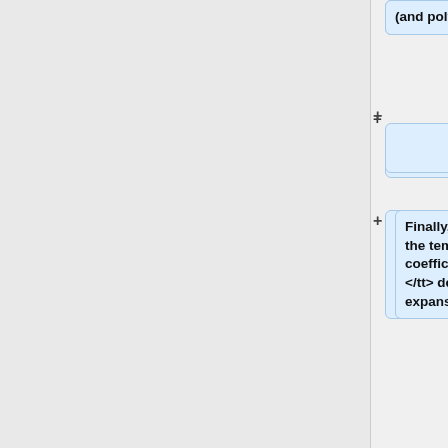(and polynomial basis).
Finally, the fifth line includes the temperature- or density-coefficients <tt>"FET_COEF"</tt> describing the functional expansion.
=== Output ===
If the output